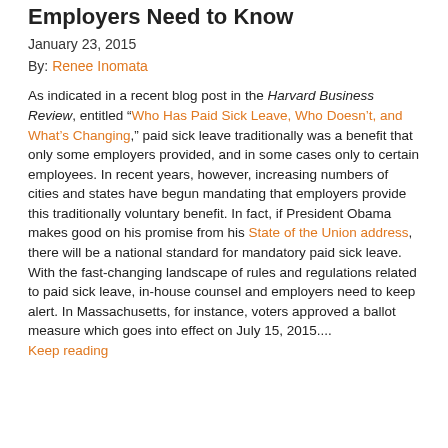Employers Need to Know
January 23, 2015
By: Renee Inomata
As indicated in a recent blog post in the Harvard Business Review, entitled “Who Has Paid Sick Leave, Who Doesn’t, and What’s Changing,” paid sick leave traditionally was a benefit that only some employers provided, and in some cases only to certain employees. In recent years, however, increasing numbers of cities and states have begun mandating that employers provide this traditionally voluntary benefit. In fact, if President Obama makes good on his promise from his State of the Union address, there will be a national standard for mandatory paid sick leave. With the fast-changing landscape of rules and regulations related to paid sick leave, in-house counsel and employers need to keep alert. In Massachusetts, for instance, voters approved a ballot measure which goes into effect on July 15, 2015.... Keep reading